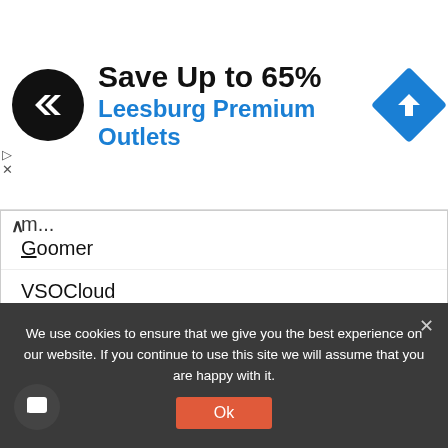[Figure (screenshot): Advertisement banner: circular black logo with double arrow icon, text 'Save Up to 65%' and 'Leesburg Premium Outlets' in blue, blue diamond navigation icon on right]
Goomer
VSOCloud
abre.la
accessiBe
PC Builder
HarbaMaster
HipSocial
shoppy
We use cookies to ensure that we give you the best experience on our website. If you continue to use this site we will assume that you are happy with it.
Ok